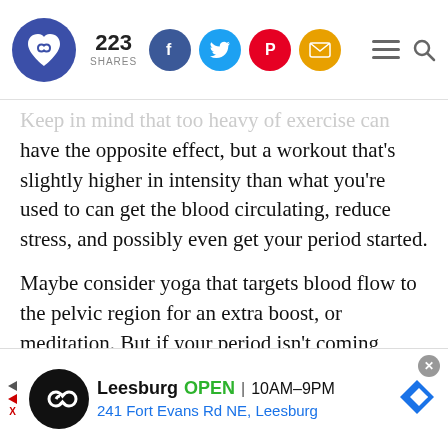223 SHARES — social share bar with Facebook, Twitter, Pinterest, Email icons, hamburger menu, search
Keep in mind that too heavy of exercise can have the opposite effect, but a workout that's slightly higher in intensity than what you're used to can get the blood circulating, reduce stress, and possibly even get your period started.
Maybe consider yoga that targets blood flow to the pelvic region for an extra boost, or meditation. But if your period isn't coming,
Leesburg OPEN 10AM–9PM 241 Fort Evans Rd NE, Leesburg